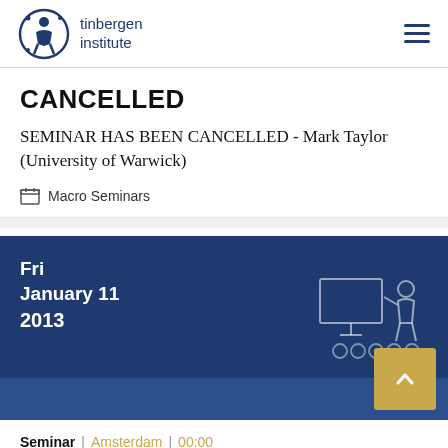tinbergen institute
CANCELLED
SEMINAR HAS BEEN CANCELLED - Mark Taylor (University of Warwick)
Macro Seminars
[Figure (infographic): Dark blue date banner showing Fri January 11 2013 with a presenter/seminar icon illustration on the right side]
Seminar | Amsterdam | 00:00
Has the International Transmission of US